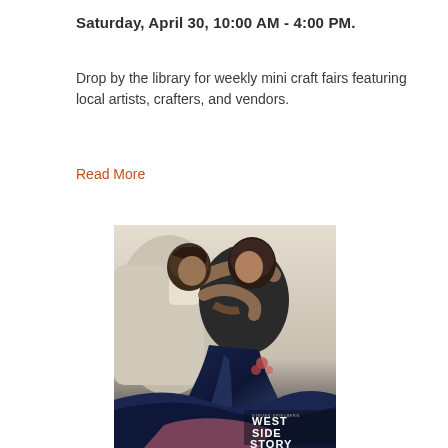Saturday, April 30, 10:00 AM - 4:00 PM.
Drop by the library for weekly mini craft fairs featuring local artists, crafters, and vendors.
Read More
[Figure (photo): Movie poster for West Side Story showing two dancers embracing, with the title 'WEST SIDE STORY' visible at the bottom right]